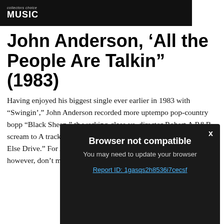collectors choice MUSIC
John Anderson, ‘All the People Are Talkin” (1983)
Having enjoyed his biggest single ever earlier in 1983 with “Swingin’,” John Anderson recorded more uptempo pop-country bopp… “Black Sheep,” th… working-class-vs… director Robert A… R&B scream to A… track, “Things Ai… Fifties cover oddi… M.A.D.D. public… Else Drive.” For Anderson at his hangdog classic-country best, however, don’t miss the whiskey-sozzled
[Figure (screenshot): Browser not compatible modal overlay with dark background. Title: Browser not compatible. Subtitle: You may need to update your browser. Link: Report ID: 1gasqs2h8536i7cecsf. X close button in top right.]